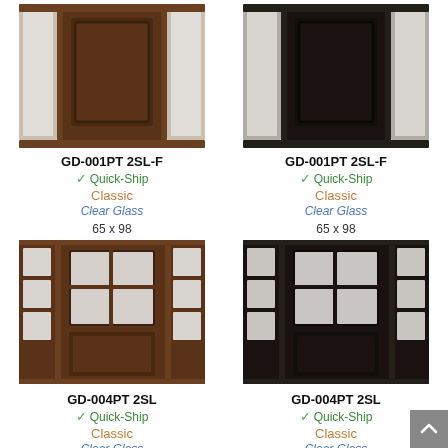[Figure (photo): Brown wood door with two frosted glass sidelights, model GD-001PT 2SL-F]
GD-001PT 2SL-F
✓ Quick-Ship
Classic
Clear Glass
65 x 98
[Figure (photo): Dark/black wood door with two frosted glass sidelights, model GD-001PT 2SL-F]
GD-001PT 2SL-F
✓ Quick-Ship
Classic
Clear Glass
65 x 98
[Figure (photo): Brown wood door with 4-lite glass and two frosted glass sidelights, model GD-004PT 2SL]
GD-004PT 2SL
✓ Quick-Ship
Classic
Clear Glass
[Figure (photo): Dark/black wood door with 4-lite glass and two frosted glass sidelights, model GD-004PT 2SL]
GD-004PT 2SL
✓ Quick-Ship
Classic
Clear Glass